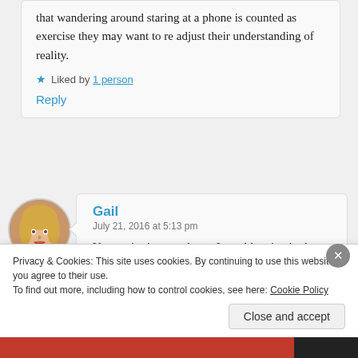that wandering around staring at a phone is counted as exercise they may want to re adjust their understanding of reality.
★ Liked by 1 person
Reply
[Figure (photo): Circular avatar photo of a blonde woman]
Gail
July 21, 2016 at 5:13 pm
Your point is a good one. I would maintain that walking to the
Privacy & Cookies: This site uses cookies. By continuing to use this website, you agree to their use.
To find out more, including how to control cookies, see here: Cookie Policy
Close and accept